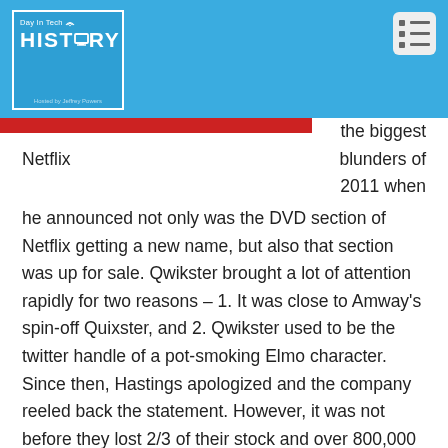[Figure (logo): Day In Tech History podcast logo — white-bordered blue box with 'Day In Tech' text, WiFi/RSS icon, HISTORY text with monitor icon replacing the 'O', and 'Hosted by Jeffrey Powers' subtitle]
Day In Tech HISTORY — menu icon
the biggest Netflix blunders of 2011 when he announced not only was the DVD section of Netflix getting a new name, but also that section was up for sale. Qwikster brought a lot of attention rapidly for two reasons – 1. It was close to Amway's spin-off Quixster, and 2. Qwikster used to be the twitter handle of a pot-smoking Elmo character. Since then, Hastings apologized and the company reeled back the statement. However, it was not before they lost 2/3 of their stock and over 800,000 subscribers. Currently, their stock is at $57 a share (from $295 back in July 2011).